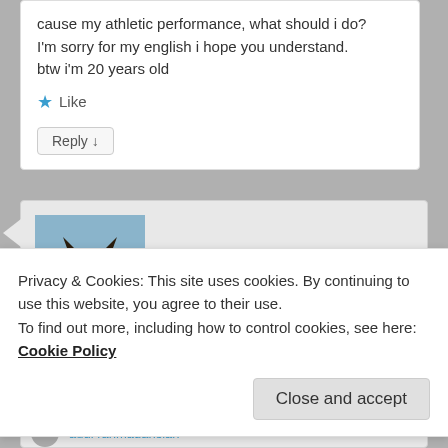cause my athletic performance, what should i do?
I'm sorry for my english i hope you understand.
btw i'm 20 years old
★ Like
Reply ↓
[Figure (photo): Avatar photo of a German Shepherd dog outdoors]
esmeelafleur on August 3, 2018 at 7:41 AM said:
Privacy & Cookies: This site uses cookies. By continuing to use this website, you agree to their use.
To find out more, including how to control cookies, see here: Cookie Policy
Close and accept
audi rahmadansiah